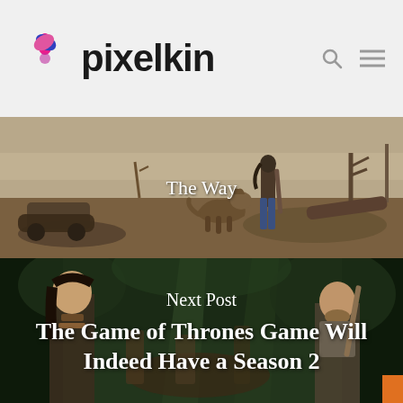pixelkin
[Figure (screenshot): Post-apocalyptic wasteland scene with a person standing next to a dog, barren landscape with dead trees and scattered debris. Text overlay reads 'The Way'.]
[Figure (screenshot): Game of Thrones game scene with animated characters in a forest setting. Text overlay reads 'Next Post' and 'The Game of Thrones Game Will Indeed Have a Season 2'.]